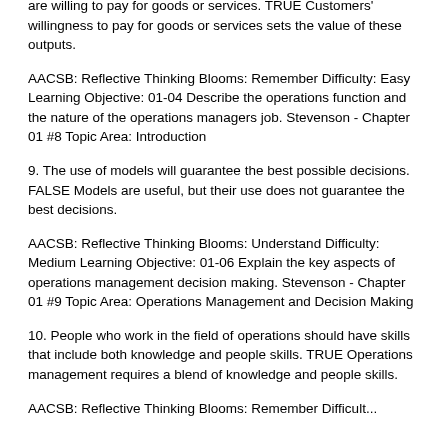are willing to pay for goods or services. TRUE Customers' willingness to pay for goods or services sets the value of these outputs.
AACSB: Reflective Thinking Blooms: Remember Difficulty: Easy Learning Objective: 01-04 Describe the operations function and the nature of the operations managers job. Stevenson - Chapter 01 #8 Topic Area: Introduction
9. The use of models will guarantee the best possible decisions. FALSE Models are useful, but their use does not guarantee the best decisions.
AACSB: Reflective Thinking Blooms: Understand Difficulty: Medium Learning Objective: 01-06 Explain the key aspects of operations management decision making. Stevenson - Chapter 01 #9 Topic Area: Operations Management and Decision Making
10. People who work in the field of operations should have skills that include both knowledge and people skills. TRUE Operations management requires a blend of knowledge and people skills.
AACSB: Reflective Thinking Blooms: Remember Difficult...